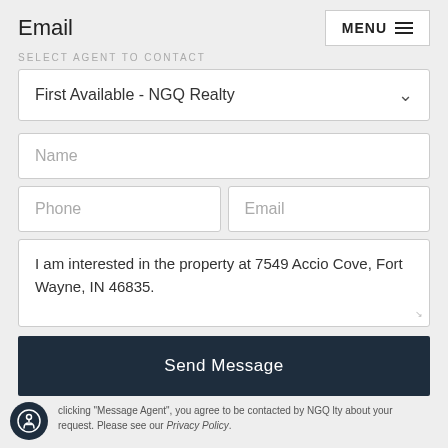Email
MENU
SELECT AGENT TO CONTACT
First Available - NGQ Realty
Name
Phone
Email
I am interested in the property at 7549 Accio Cove, Fort Wayne, IN 46835.
Send Message
clicking "Message Agent", you agree to be contacted by NGQ lty about your request. Please see our Privacy Policy.